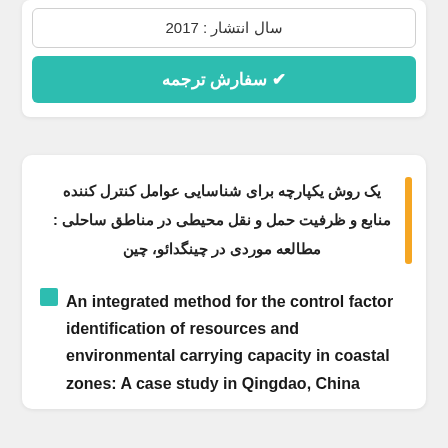سال انتشار : 2017
✔ سفارش ترجمه
یک روش یکپارچه برای شناسایی عوامل کنترل کننده منابع و ظرفیت حمل و نقل محیطی در مناطق ساحلی : مطالعه موردی در چینگدائو، چین
An integrated method for the control factor identification of resources and environmental carrying capacity in coastal zones: A case study in Qingdao, China